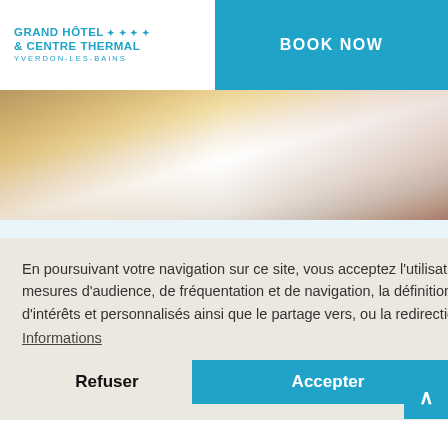[Figure (logo): Grand Hôtel & Centre Thermal Yverdon-les-Bains logo with 4 stars]
BOOK NOW
[Figure (photo): Hotel room bed with white linens and golden/beige bed runner]
Family rooms
ecting family
ols.
En poursuivant votre navigation sur ce site, vous acceptez l'utilisation de cookies ayant pour finalité l'analyse et les mesures d'audience, de fréquentation et de navigation, la définition de services et offres adaptés à vos centres d'intérêts et personnalisés ainsi que le partage vers, ou la redirection depuis, des sites tiers. Informations
Refuser
Accepter
MS